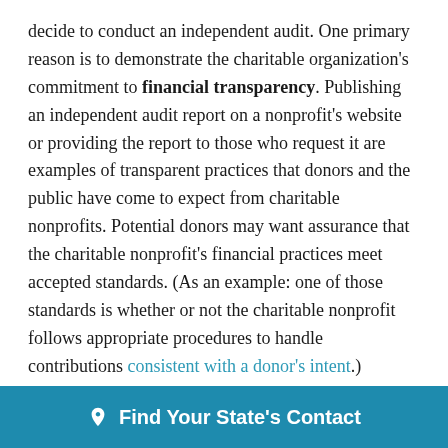decide to conduct an independent audit. One primary reason is to demonstrate the charitable organization's commitment to financial transparency. Publishing an independent audit report on a nonprofit's website or providing the report to those who request it are examples of transparent practices that donors and the public have come to expect from charitable nonprofits. Potential donors may want assurance that the charitable nonprofit's financial practices meet accepted standards. (As an example: one of those standards is whether or not the charitable nonprofit follows appropriate procedures to handle contributions consistent with a donor's intent.)
Another reason to conduct an audit even when not required by law is that many public and private foundations/funders (including governments) require
Find Your State's Contact